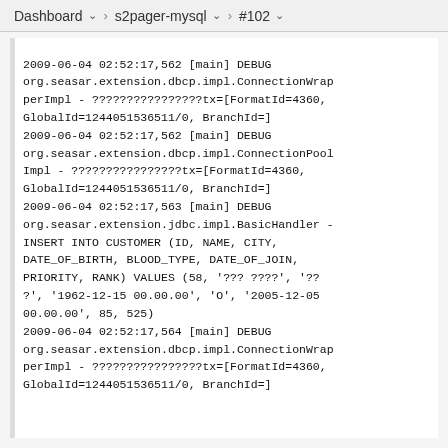Dashboard  >  s2pager-mysql  >  #102
2009-06-04 02:52:17,562 [main] DEBUG org.seasar.extension.dbcp.impl.ConnectionWrapperImpl - ????????????????tx=[FormatId=4360, GlobalId=1244051536511/0, BranchId=]
2009-06-04 02:52:17,562 [main] DEBUG org.seasar.extension.dbcp.impl.ConnectionPoolImpl - ????????????????tx=[FormatId=4360, GlobalId=1244051536511/0, BranchId=]
2009-06-04 02:52:17,563 [main] DEBUG org.seasar.extension.jdbc.impl.BasicHandler - INSERT INTO CUSTOMER (ID, NAME, CITY, DATE_OF_BIRTH, BLOOD_TYPE, DATE_OF_JOIN, PRIORITY, RANK) VALUES (58, '??? ????', '???', '1962-12-15 00.00.00', 'O', '2005-12-05 00.00.00', 85, 525)
2009-06-04 02:52:17,564 [main] DEBUG org.seasar.extension.dbcp.impl.ConnectionWrapperImpl - ????????????????tx=[FormatId=4360, GlobalId=1244051536511/0, BranchId=]